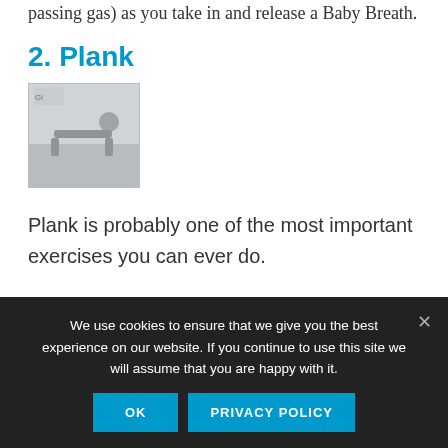passing gas) as you take in and release a Baby Breath.
2. Plank
[Figure (photo): A person performing a plank exercise, shown in a small grayscale image.]
Plank is probably one of the most important exercises you can ever do.
We use cookies to ensure that we give you the best experience on our website. If you continue to use this site we will assume that you are happy with it.